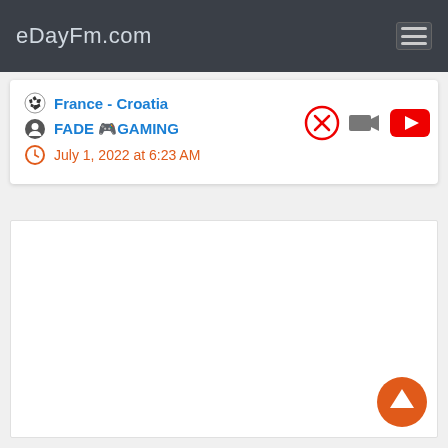eDayFm.com
France - Croatia
FADE 🎮GAMING
July 1, 2022 at 6:23 AM
[Figure (other): White content panel area (empty/loading)]
[Figure (other): Orange scroll-to-top arrow button]